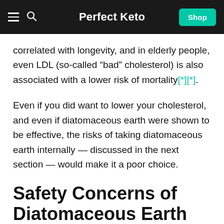Perfect Keto
correlated with longevity, and in elderly people, even LDL (so-called “bad” cholesterol) is also associated with a lower risk of mortality[*][*].
Even if you did want to lower your cholesterol, and even if diatomaceous earth were shown to be effective, the risks of taking diatomaceous earth internally — discussed in the next section — would make it a poor choice.
Safety Concerns of Diatomaceous Earth